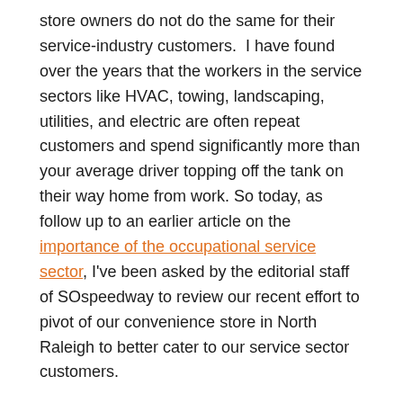store owners do not do the same for their service-industry customers.  I have found over the years that the workers in the service sectors like HVAC, towing, landscaping, utilities, and electric are often repeat customers and spend significantly more than your average driver topping off the tank on their way home from work. So today, as follow up to an earlier article on the importance of the occupational service sector, I've been asked by the editorial staff of SOspeedway to review our recent effort to pivot of our convenience store in North Raleigh to better cater to our service sector customers.
What We Did
Expanded Targeted Offerings – With our belief that a convenience section dedicated to service-based drivers would also help drive ancillary convenience stores, we